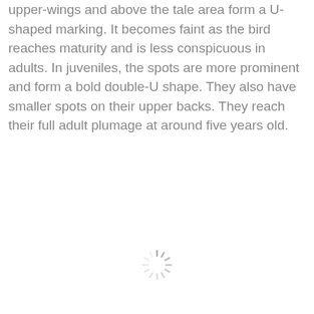upper-wings and above the tale area form a U-shaped marking. It becomes faint as the bird reaches maturity and is less conspicuous in adults. In juveniles, the spots are more prominent and form a bold double-U shape. They also have smaller spots on their upper backs. They reach their full adult plumage at around five years old.
[Figure (other): A loading spinner icon (circular dashed ring indicating loading state)]